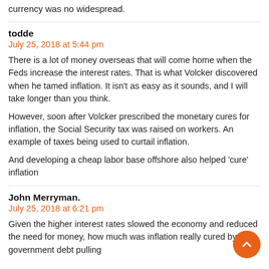currency was no widespread.
todde
July 25, 2018 at 5:44 pm
There is a lot of money overseas that will come home when the Feds increase the interest rates. That is what Volcker discovered when he tamed inflation. It isn't as easy as it sounds, and I will take longer than you think.
However, soon after Volcker prescribed the monetary cures for inflation, the Social Security tax was raised on workers. An example of taxes being used to curtail inflation.
And developing a cheap labor base offshore also helped 'cure' inflation
John Merryman.
July 25, 2018 at 6:21 pm
Given the higher interest rates slowed the economy and reduced the need for money, how much was inflation really cured by government debt pulling